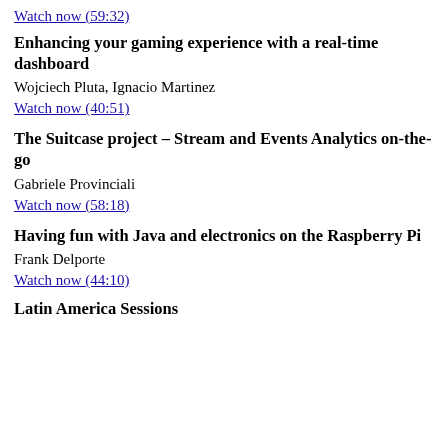Watch now (59:32)
Enhancing your gaming experience with a real-time dashboard
Wojciech Pluta, Ignacio Martinez
Watch now (40:51)
The Suitcase project – Stream and Events Analytics on-the-go
Gabriele Provinciali
Watch now (58:18)
Having fun with Java and electronics on the Raspberry Pi
Frank Delporte
Watch now (44:10)
Latin America Sessions